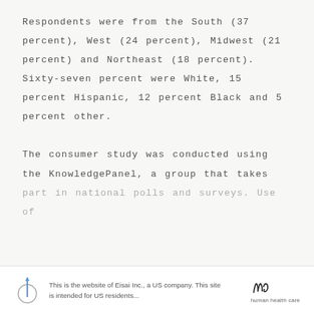Respondents were from the South (37 percent), West (24 percent), Midwest (21 percent) and Northeast (18 percent). Sixty-seven percent were White, 15 percent Hispanic, 12 percent Black and 5 percent other.

The consumer study was conducted using the KnowledgePanel, a group that takes part in national polls and surveys. Use of
This is the website of Eisai Inc., a US company. This site is intended for US residents...